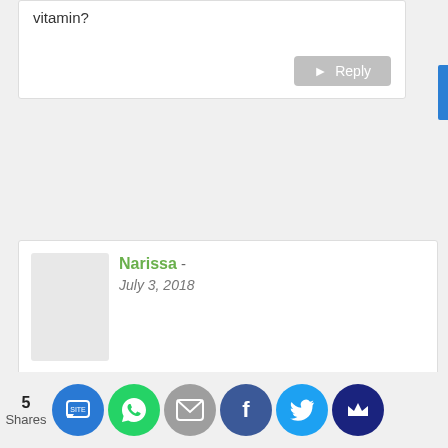vitamin?
Reply
Narissa - July 3, 2018
Hi Stacy. Dont worry too much, i m thinking that you dont have enough nutrients on your daily meal. I recommend adding more supplements like Seaweed. Besides that